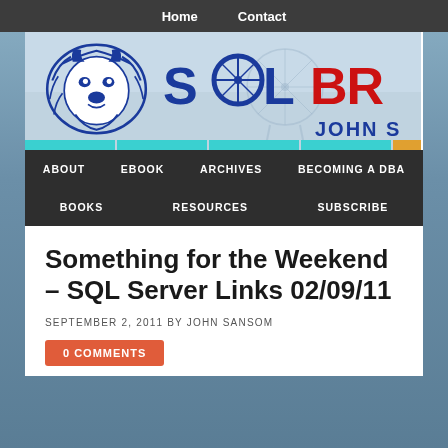Home   Contact
[Figure (logo): SQLBr... blog logo with blue lion head and SQLBR... text in blue and red, with JOHN S... text]
ABOUT   EBOOK   ARCHIVES   BECOMING A DBA   BOOKS   RESOURCES   SUBSCRIBE
Something for the Weekend – SQL Server Links 02/09/11
SEPTEMBER 2, 2011 BY JOHN SANSOM
0 COMMENTS